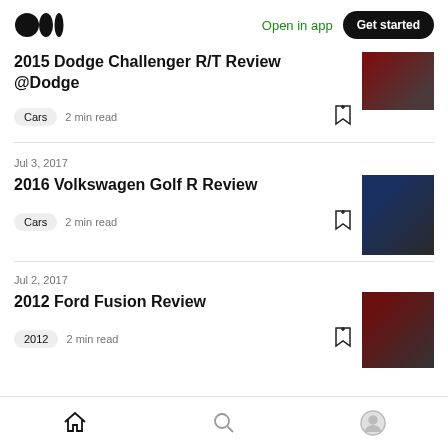Medium logo | Open in app | Get started
2015 Dodge Challenger R/T Review @Dodge
Cars  2 min read
Jul 3, 2017
2016 Volkswagen Golf R Review
Cars  2 min read
Jul 2, 2017
2012 Ford Fusion Review
2012  2 min read